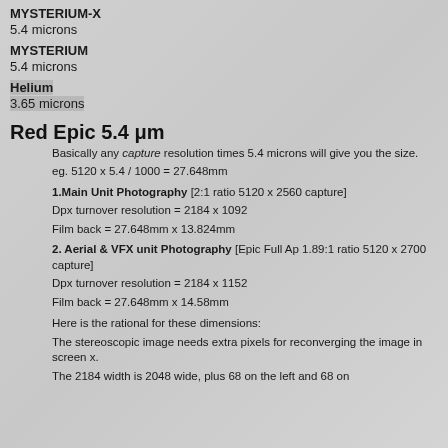MYSTERIUM-X
5.4 microns
MYSTERIUM
5.4 microns
Helium
3.65 microns
Red Epic 5.4 μm
Basically any capture resolution times 5.4 microns will give you the size.
eg. 5120 x 5.4 / 1000 = 27.648mm
1.Main Unit Photography  [2:1 ratio 5120 x 2560 capture]
Dpx turnover resolution = 2184 x 1092
Film back = 27.648mm x 13.824mm
2. Aerial & VFX unit Photography  [Epic Full Ap 1.89:1 ratio 5120 x 2700 capture]
Dpx turnover resolution = 2184 x 1152
Film back = 27.648mm x 14.58mm
Here is the rational for these dimensions:
The stereoscopic image needs extra pixels for reconverging the image in screen x.
The 2184 width is 2048 wide, plus 68 on the left and 68 on